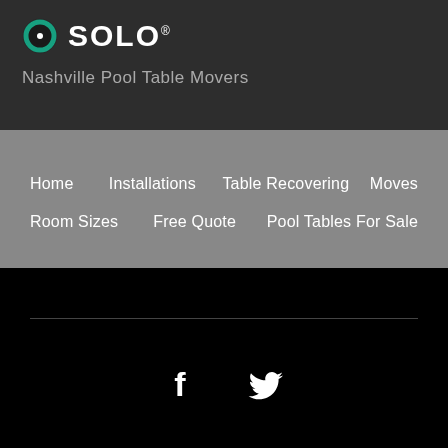[Figure (logo): Solo brand logo with teal/green circular icon and white bold text SOLO with registered trademark symbol]
Nashville Pool Table Movers
Home
Installations
Table Recovering
Moves
Room Sizes
Free Quote
Pool Tables For Sale
[Figure (illustration): Facebook and Twitter social media icons in white on black background]